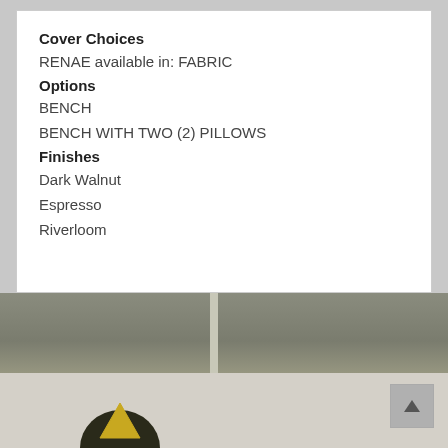Cover Choices
RENAE available in: FABRIC
Options
BENCH
BENCH WITH TWO (2) PILLOWS
Finishes
Dark Walnut
Espresso
Riverloom
[Figure (photo): Bottom portion of a webpage showing a partial furniture/rug image and a partial logo, with a scroll-to-top button in the lower right corner.]